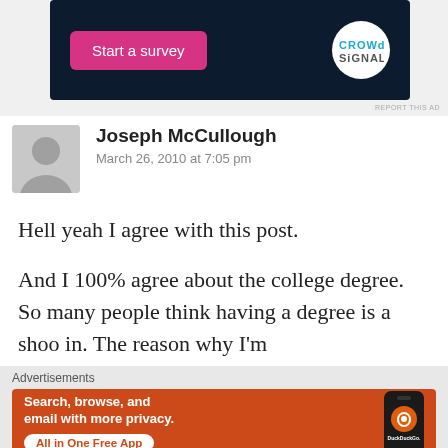[Figure (screenshot): CrowdSignal advertisement banner with dark navy background showing a pink 'Start a survey' button and a white circle with the CrowdSignal logo]
REPORT THIS AD
Joseph McCullough
March 26, 2010 at 7:05 pm
Hell yeah I agree with this post.

And I 100% agree about the college degree. So many people think having a degree is a shoo in. The reason why I'm
Advertisements
[Figure (screenshot): DuckDuckGo advertisement with orange background saying 'Search, browse, and email with more privacy. All in One Free App' with DuckDuckGo logo on a phone mockup]